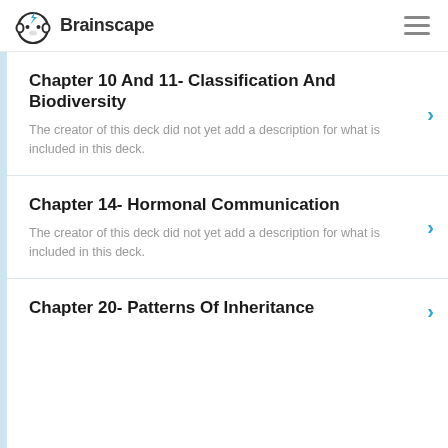Brainscape
Chapter 10 And 11- Classification And Biodiversity
The creator of this deck did not yet add a description for what is included in this deck.
Chapter 14- Hormonal Communication
The creator of this deck did not yet add a description for what is included in this deck.
Chapter 20- Patterns Of Inheritance